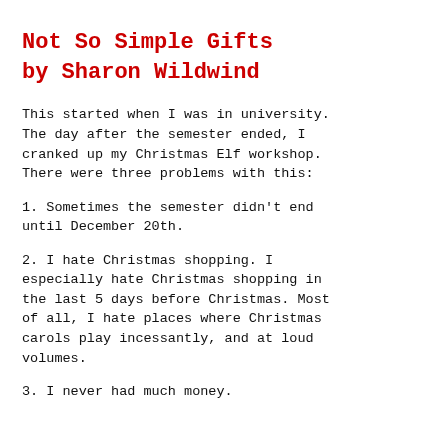Not So Simple Gifts
by Sharon Wildwind
This started when I was in university. The day after the semester ended, I cranked up my Christmas Elf workshop. There were three problems with this:
1. Sometimes the semester didn't end until December 20th.
2. I hate Christmas shopping. I especially hate Christmas shopping in the last 5 days before Christmas. Most of all, I hate places where Christmas carols play incessantly, and at loud volumes.
3. I never had much money.